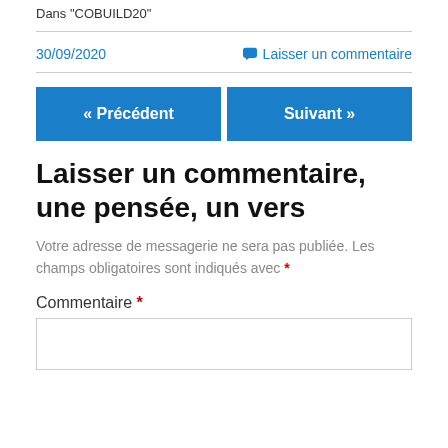Dans "COBUILD20"
30/09/2020
Laisser un commentaire
« Précédent
Suivant »
Laisser un commentaire, une pensée, un vers
Votre adresse de messagerie ne sera pas publiée. Les champs obligatoires sont indiqués avec *
Commentaire *